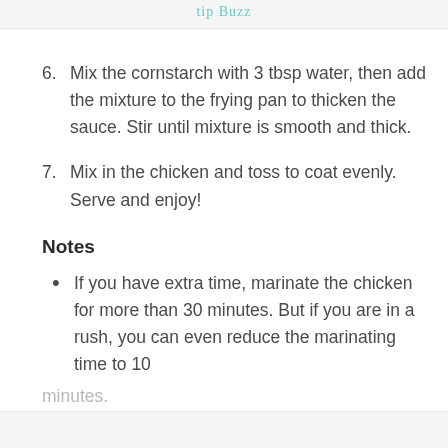6. Mix the cornstarch with 3 tbsp water, then add the mixture to the frying pan to thicken the sauce. Stir until mixture is smooth and thick.
7. Mix in the chicken and toss to coat evenly. Serve and enjoy!
Notes
If you have extra time, marinate the chicken for more than 30 minutes. But if you are in a rush, you can even reduce the marinating time to 10 minutes.